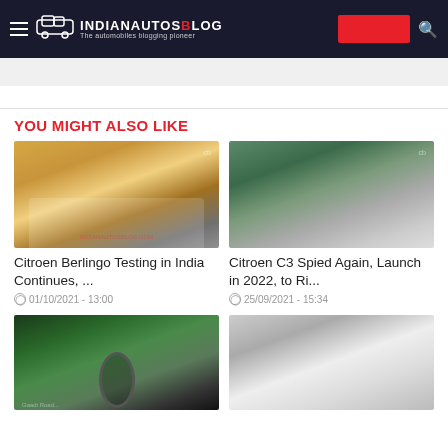IndianAutosBlog – The automobiles blogging pioneer
YOU MIGHT ALSO LIKE
[Figure (photo): Citroen Berlingo SUV testing on Indian road, front view on highway]
Citroen Berlingo Testing in India Continues, ...
01/10/2021 - 13:00
[Figure (photo): Citroen C3 spied in traffic, rear view with camouflage wrap]
Citroen C3 Spied Again, Launch in 2022, to Ri...
25/09/2021 - 15:34
[Figure (photo): Blue cruiser motorcycle on road, side view]
[Figure (photo): White camouflaged SUV in traffic, rear-side view]